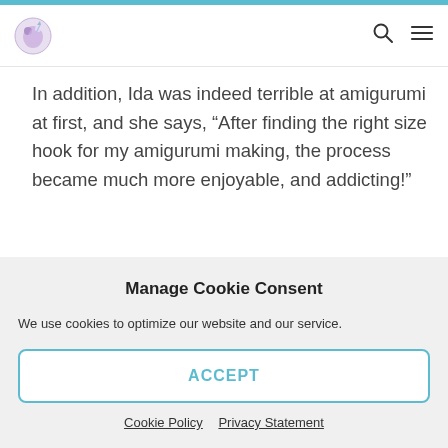[Logo] [Search icon] [Menu icon]
In addition, Ida was indeed terrible at amigurumi at first, and she says, “After finding the right size hook for my amigurumi making, the process became much more enjoyable, and addicting!”
Manage Cookie Consent
We use cookies to optimize our website and our service.
ACCEPT
Cookie Policy   Privacy Statement